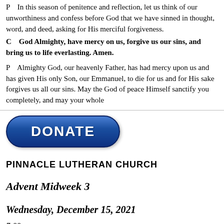P    In this season of penitence and reflection, let us think of our unworthiness and confess before God that we have sinned in thought, word, and deed, asking for His merciful forgiveness.
C    God Almighty, have mercy on us, forgive us our sins, and bring us to life everlasting. Amen.
P    Almighty God, our heavenly Father, has had mercy upon us and has given His only Son, our Emmanuel, to die for us and for His sake forgives us all our sins. May the God of peace Himself sanctify you completely, and may your whole spirit and soul and body be kept blameless at the coming of
[Figure (other): Blue rounded rectangle donate button with white bold text reading DONATE]
PINNACLE LUTHERAN CHURCH
Advent Midweek 3
Wednesday, December 15, 2021
7:00 pm